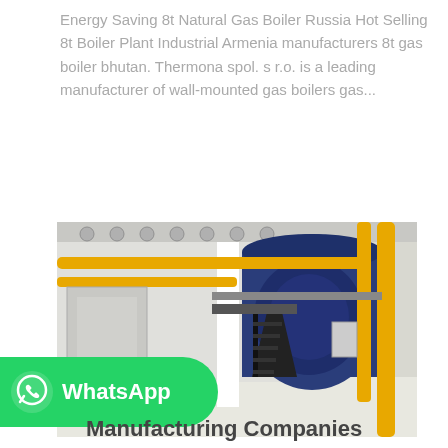Energy Saving 8t Natural Gas Boiler Russia Hot Selling 8t Boiler Plant Industrial Armenia manufacturers 8t gas boiler bhutan. Thermona spol. s r.o. is a leading manufacturer of wall-mounted gas boilers gas...
Get Price
[Figure (photo): Industrial boiler plant interior showing large blue cylindrical boilers with yellow pipes and staircases in a white facility]
[Figure (logo): WhatsApp badge with icon and text on green background]
Manufacturing Companies